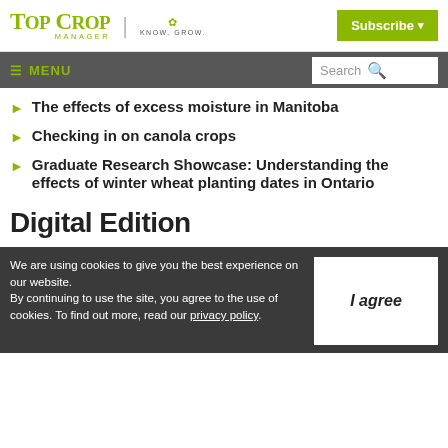Top Crop Manager | KNOW. GROW. | Subscribe
≡ MENU | Search
The effects of excess moisture in Manitoba
Checking in on canola crops
Graduate Research Showcase: Understanding the effects of winter wheat planting dates in Ontario
Digital Edition
We are using cookies to give you the best experience on our website. By continuing to use the site, you agree to the use of cookies. To find out more, read our privacy policy.